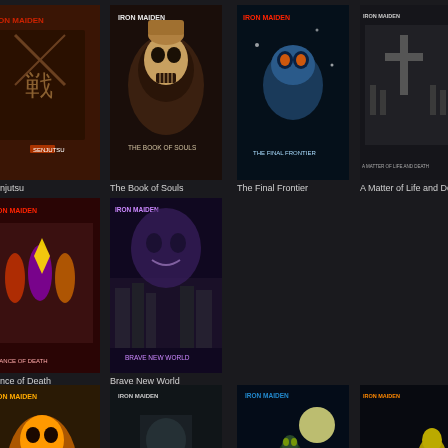[Figure (illustration): Iron Maiden album grid showing 11 album covers with titles: Senjutsu (partially visible), The Book of Souls, The Final Frontier, A Matter of Life and Death, Dance of Death (partially visible), Brave New World, Virtual XI (partially visible), The X Factor, Fear of the Dark, No Prayer for the Dying, Seventh Son of a Seventh Son (partially visible), Somewhere in Time]
njutsu
The Book of Souls
The Final Frontier
A Matter of Life and Death
nce of Death
Brave New World
rtual XI
The X Factor
Fear of the Dark
No Prayer for the Dying
venth Son of a Seventh Son
Somewhere in Time